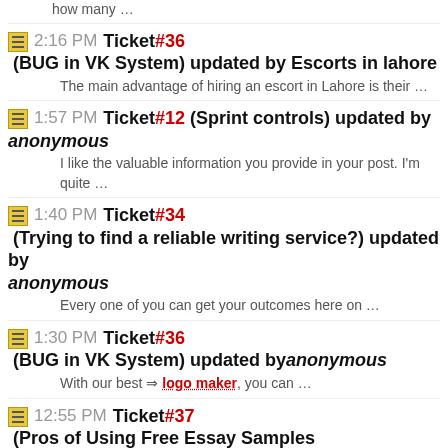how many …
2:16 PM Ticket #36 (BUG in VK System) updated by Escorts in lahore
The main advantage of hiring an escort in Lahore is their …
1:57 PM Ticket #12 (Sprint controls) updated by anonymous
I like the valuable information you provide in your post. I'm quite …
1:40 PM Ticket #34 (Trying to find a reliable writing service?) updated by anonymous
Every one of you can get your outcomes here on …
1:30 PM Ticket #36 (BUG in VK System) updated by anonymous
With our best logo maker, you can …
12:55 PM Ticket #37 (Pros of Using Free Essay Samples Paperwall101) updated by Golden Apple
Our Escorts in Pakistan are experienced in the ways of pleasing men. …
12:34 PM Ticket #389 (New Defect) updated by